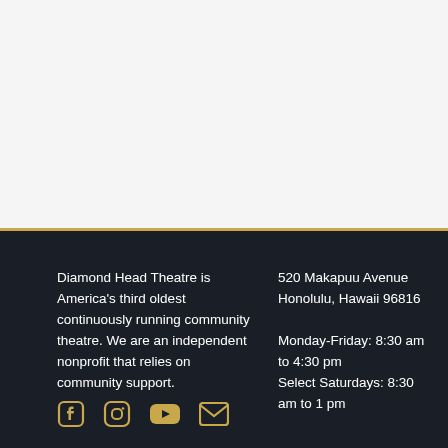Diamond Head Theatre is America's third oldest continuously running community theatre. We are an independent nonprofit that relies on community support.
520 Makapuu Avenue
Honolulu, Hawaii 96816

Monday-Friday: 8:30 am to 4:30 pm
Select Saturdays: 8:30 am to 1 pm
[Figure (illustration): Social media icons row: Facebook, Instagram, YouTube, Email — all in gold/yellow color]